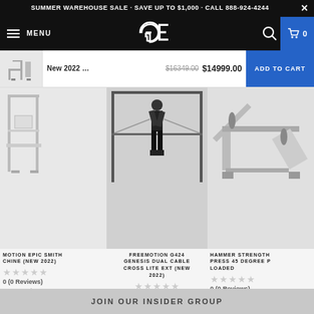SUMMER WAREHOUSE SALE - SAVE UP TO $1,000 - CALL 888-924-4244
MENU | GE Logo | Search | Cart 0
New 2022 ... $16349.00 $14999.00 ADD TO CART
[Figure (photo): Gym equipment product image - left column: Freemotion Epic Smith Machine (New 2022)]
MOTION EPIC SMITH CHINE (NEW 2022)
0 (0 Reviews)
4,795.00 $5,599.00
[Figure (photo): Center product: Freemotion G424 Genesis Dual Cable Cross Lite Ext (New 2022) - person using cable machine]
FREEMOTION G424 GENESIS DUAL CABLE CROSS LITE EXT (NEW 2022)
0 (0 Reviews)
$5,999.00 $6,699.00
[Figure (photo): Right product: Hammer Strength Press 45 Degree Plate Loaded]
HAMMER STRENGTH PRESS 45 DEGREE P... LOADED
0 (0 Reviews)
from $3,895.00 $7,000
JOIN OUR INSIDER GROUP